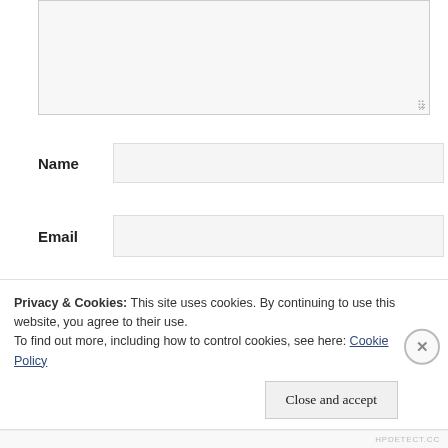[Figure (screenshot): A web form textarea input box (empty, light gray background) with a resize handle at the bottom-right corner]
Name
[Figure (screenshot): Name input field (empty, light gray background)]
Email
[Figure (screenshot): Email input field (empty, light gray background)]
Website
[Figure (screenshot): Website input field (empty, light gray background)]
[Figure (screenshot): Black submit button (partially visible)]
Privacy & Cookies: This site uses cookies. By continuing to use this website, you agree to their use.
To find out more, including how to control cookies, see here: Cookie Policy
Close and accept
HPDETECT.CC